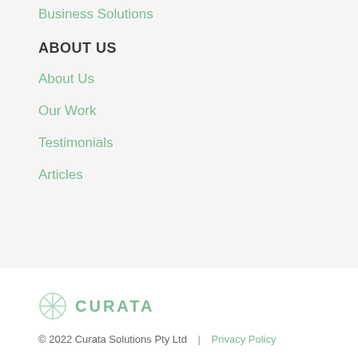Business Solutions
ABOUT US
About Us
Our Work
Testimonials
Articles
[Figure (logo): Curata logo with circular segmented icon and text CURATA in green]
© 2022 Curata Solutions Pty Ltd  |  Privacy Policy